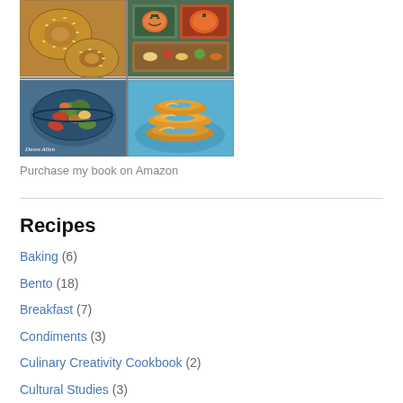[Figure (photo): Cookbook cover collage showing four food photos: bagels with sesame seeds (top left), Halloween-themed bento box with pumpkin decorations (top right), stir-fried vegetables in a blue bowl by Dawn Allen (bottom left), and stacked battered onion rings on a blue plate (bottom right).]
Purchase my book on Amazon
Recipes
Baking (6)
Bento (18)
Breakfast (7)
Condiments (3)
Culinary Creativity Cookbook (2)
Cultural Studies (3)
Dessert (26)